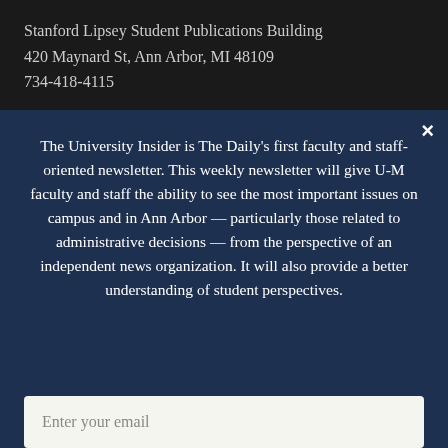Stanford Lipsey Student Publications Building
420 Maynard St, Ann Arbor, MI 48109
734-418-4115
Edited and managed by the students at the University of
The University Insider is The Daily's first faculty and staff-oriented newsletter. This weekly newsletter will give U-M faculty and staff the ability to see the most important issues on campus and in Ann Arbor — particularly those related to administrative decisions — from the perspective of an independent news organization. It will also provide a better understanding of student perspectives.
Enter your email